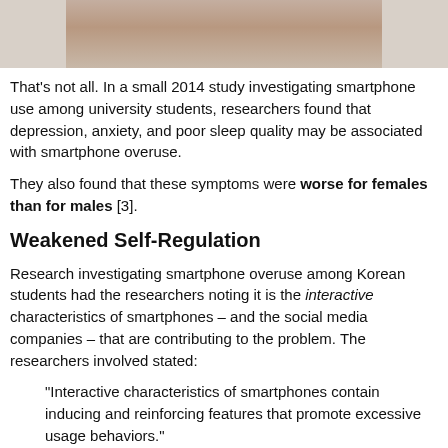[Figure (photo): Cropped bottom portion of a photo showing a person's hand near their face with dark hair visible]
That’s not all. In a small 2014 study investigating smartphone use among university students, researchers found that depression, anxiety, and poor sleep quality may be associated with smartphone overuse.
They also found that these symptoms were worse for females than for males [3].
Weakened Self-Regulation
Research investigating smartphone overuse among Korean students had the researchers noting it is the interactive characteristics of smartphones – and the social media companies – that are contributing to the problem. The researchers involved stated:
“Interactive characteristics of smartphones contain inducing and reinforcing features that promote excessive usage behaviors.”
These researchers found that frequently checking content and